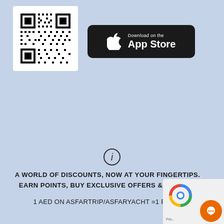[Figure (other): QR code in a white box and App Store download button on a light blue background]
A WORLD OF DISCOUNTS, NOW AT YOUR FINGERTIPS. EARN POINTS, BUY EXCLUSIVE OFFERS & REDEEM.
1 AED ON ASFARTRIP/ASFARYACHT =1 POINT